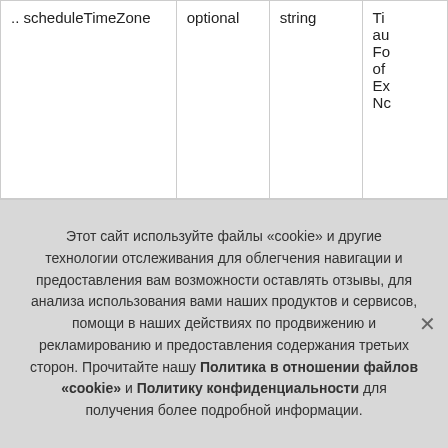|  | optional | string | Ti au Fo of Ex Nc |
| --- | --- | --- | --- |
| .. scheduleTimeZone | optional | string | Ti
au
Fo
of
Ex
Nc |
Этот сайт используйте файлы «cookie» и другие технологии отслеживания для облегчения навигации и предоставления вам возможности оставлять отзывы, для анализа использования вами наших продуктов и сервисов, помощи в наших действиях по продвижению и рекламированию и предоставления содержания третьих сторон. Прочитайте нашу Политика в отношении файлов «cookie» и Политику конфиденциальности для получения более подробной информации.